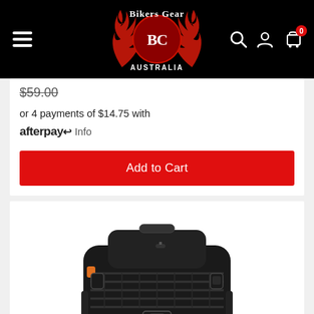Bikers Gear Australia — navigation header with logo, hamburger menu, search, account, and cart icons
$59.00
or 4 payments of $14.75 with afterpay Info
Add to Cart
[Figure (photo): Black tactical motorcycle tail bag / luggage bag with MOLLE webbing, buckle straps, orange accent, and a carry handle on top, displayed on a white background]